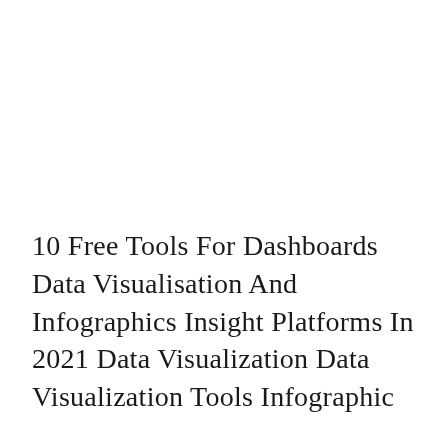10 Free Tools For Dashboards Data Visualisation And Infographics Insight Platforms In 2021 Data Visualization Data Visualization Tools Infographic